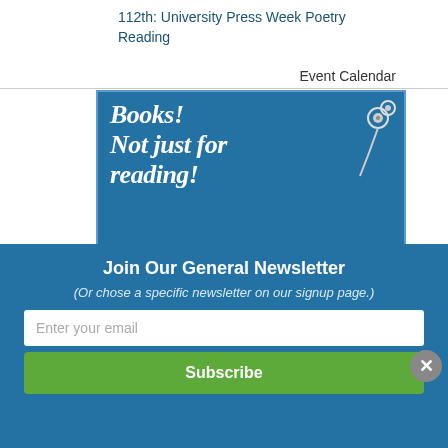112th: University Press Week Poetry Reading
Event Calendar
[Figure (illustration): Blue advertisement banner for Digital Audiobooks. Text reads: 'Books! Not just for reading! Digital Audiobooks now available!' with earbuds graphic and white floral designs at bottom.]
Join Our General Newsletter
(Or chose a specific newsletter on our signup page.)
Enter your email
Subscribe